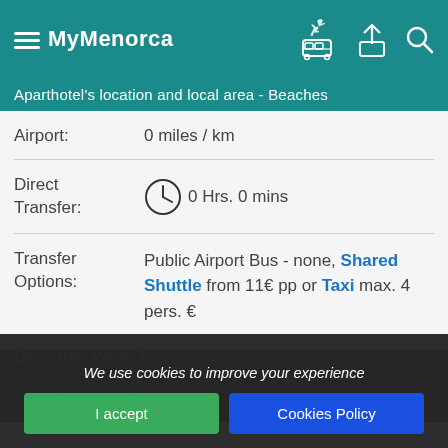MyMenorca
Aparthotel's location and local area - Beaches
| Field | Value |
| --- | --- |
| Airport: | 0 miles / km |
| Direct Transfer: | 0 Hrs. 0 mins |
| Transfer Options: | Public Airport Bus - none, Shared Shuttle from 11€ pp or Taxi max. 4 pers. € |
We use cookies to improve your experience
I accept
Cookies Policy
Beaches what to...
Beaches Full Guide